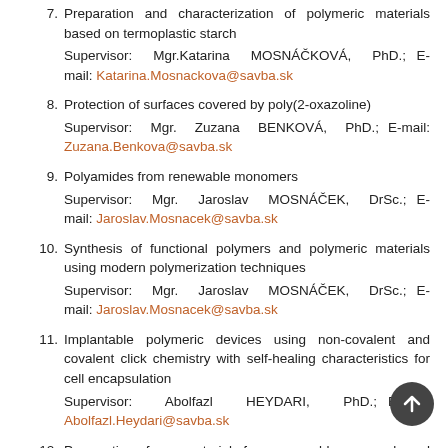7. Preparation and characterization of polymeric materials based on termoplastic starch
Supervisor: Mgr.Katarina MOSNÁČKOVÁ, PhD.; E-mail: Katarina.Mosnackova@savba.sk
8. Protection of surfaces covered by poly(2-oxazoline)
Supervisor: Mgr. Zuzana BENKOVÁ, PhD.; E-mail: Zuzana.Benkova@savba.sk
9. Polyamides from renewable monomers
Supervisor: Mgr. Jaroslav MOSNÁČEK, DrSc.; E-mail: Jaroslav.Mosnacek@savba.sk
10. Synthesis of functional polymers and polymeric materials using modern polymerization techniques
Supervisor: Mgr. Jaroslav MOSNÁČEK, DrSc.; E-mail: Jaroslav.Mosnacek@savba.sk
11. Implantable polymeric devices using non-covalent and covalent click chemistry with self-healing characteristics for cell encapsulation
Supervisor: Abolfazl HEYDARI, PhD.; E-mail: Abolfazl.Heydari@savba.sk
12. Preparation of nanomaterials from renewable sources based on furan